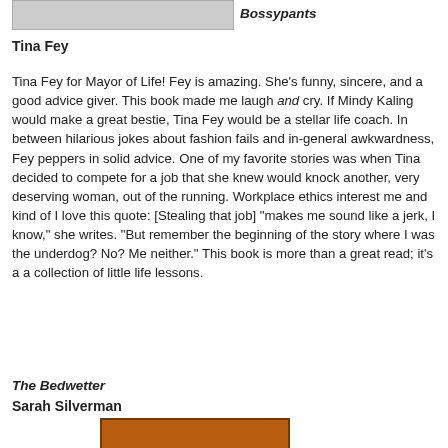[Figure (photo): Top portion of a photo of a person, partially visible at top of page]
Bossypants
Tina Fey
Tina Fey for Mayor of Life! Fey is amazing. She's funny, sincere, and a good advice giver. This book made me laugh and cry. If Mindy Kaling would make a great bestie, Tina Fey would be a stellar life coach. In between hilarious jokes about fashion fails and in-general awkwardness, Fey peppers in solid advice. One of my favorite stories was when Tina decided to compete for a job that she knew would knock another, very deserving woman, out of the running. Workplace ethics interest me and kind of I love this quote: [Stealing that job] "makes me sound like a jerk, I know," she writes. "But remember the beginning of the story where I was the underdog? No? Me neither." This book is more than a great read; it's a a collection of little life lessons.
The Bedwetter
Sarah Silverman
[Figure (photo): Bottom portion of a book cover with orange/brown background, partially visible at bottom of page]